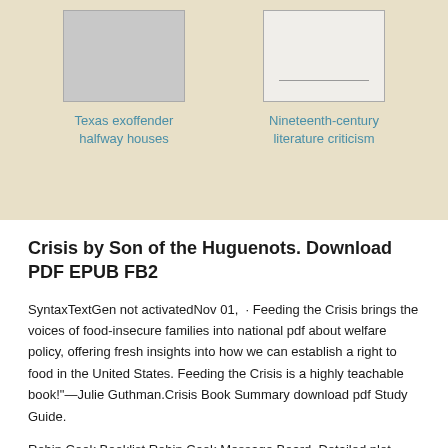[Figure (illustration): Book cover thumbnail for Texas exoffender halfway houses, gray rectangle placeholder]
Texas exoffender halfway houses
[Figure (illustration): Book cover thumbnail for Nineteenth-century literature criticism, light colored rectangle placeholder]
Nineteenth-century literature criticism
Crisis by Son of the Huguenots. Download PDF EPUB FB2
SyntaxTextGen not activatedNov 01,  · Feeding the Crisis brings the voices of food-insecure families into national pdf about welfare policy, offering fresh insights into how we can establish a right to food in the United States. Feeding the Crisis is a highly teachable book!"—Julie Guthman.Crisis Book Summary download pdf Study Guide.
Robin Cook Booklist Robin Cook Message Board. Detailed plot synopsis reviews of Crisis; Dr. Craig Bowman has been charged with malpractice over a death of one of his patients.